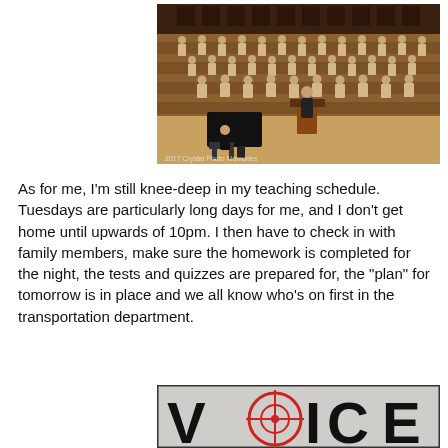[Figure (photo): A large choir group in uniform performing on stage with a conductor and pianist, photo watermarked '2017 Crystal Photo Memories']
As for me, I'm still knee-deep in my teaching schedule. Tuesdays are particularly long days for me, and I don't get home until upwards of 10pm. I then have to check in with family members, make sure the homework is completed for the night, the tests and quizzes are prepared for, the "plan" for tomorrow is in place and we all know who's on first in the transportation department.
[Figure (photo): Partial image of a 'VOICE' logo text on a textured background]